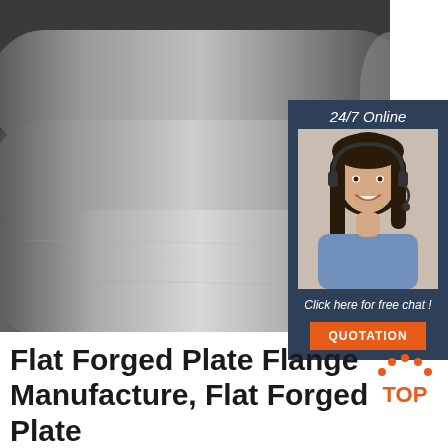[Figure (photo): Three large steel/metal round bars or rods laid on a concrete surface, photographed from above at an angle, with industrial background.]
[Figure (photo): 24/7 Online chat widget showing a smiling female customer service representative wearing a headset, with dark navy background, italic text 'Click here for free chat!' and an orange QUOTATION button.]
Flat Forged Plate Flange Manufacture, Flat Forged Plate